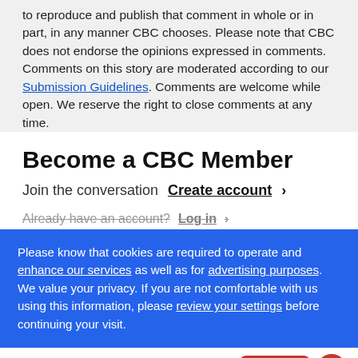to reproduce and publish that comment in whole or in part, in any manner CBC chooses. Please note that CBC does not endorse the opinions expressed in comments. Comments on this story are moderated according to our Submission Guidelines. Comments are welcome while open. We reserve the right to close comments at any time.
Become a CBC Member
Join the conversation  Create account  ›
Already have an account?   Log in  ›
Please know that cookies are required to operate and enhance our services as well as for advertising purposes. We value your privacy. If you are not comfortable with us using this information, please review your settings before continuing your visit.
CBC  READ IN THE APP   Open